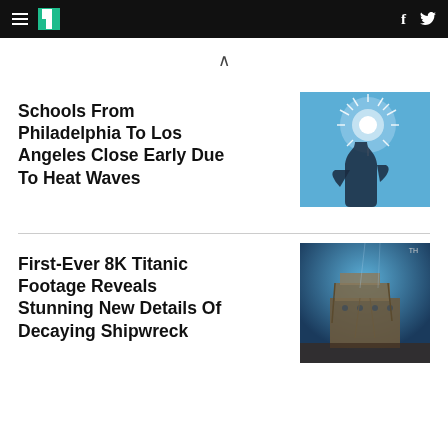HuffPost navigation with hamburger menu, logo, Facebook and Twitter icons
Schools From Philadelphia To Los Angeles Close Early Due To Heat Waves
[Figure (photo): Person holding a water bottle up towards a bright sun in a blue sky, silhouette shot]
First-Ever 8K Titanic Footage Reveals Stunning New Details Of Decaying Shipwreck
[Figure (photo): Underwater image of the decaying Titanic shipwreck against a blue background]